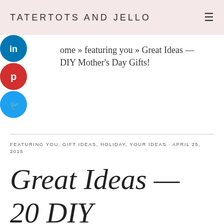TATERTOTS AND JELLO
[Figure (infographic): Three social sharing buttons stacked vertically: LinkedIn (blue), Pinterest (red), Twitter (blue)]
Home » featuring you » Great Ideas — DIY Mother's Day Gifts!
FEATURING YOU, GIFT IDEAS, HOLIDAY, YOUR IDEAS · APRIL 25, 2015
Great Ideas — 20 DIY Mother's Day Gifts!